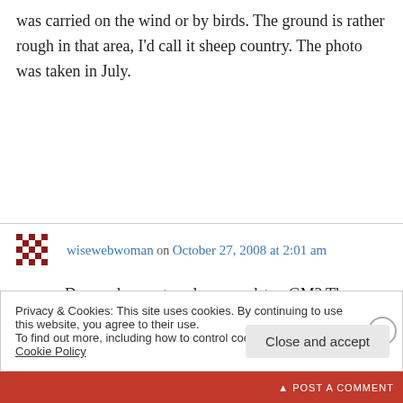was carried on the wind or by birds. The ground is rather rough in that area, I'd call it sheep country. The photo was taken in July.
wisewebwoman on October 27, 2008 at 2:01 am
Do you have a top-down roadster, GM? The car certainly looks like it!! I change the wallpaper regularly, right now it is a thundering wave on the beach in hurting-blue
Privacy & Cookies: This site uses cookies. By continuing to use this website, you agree to their use. To find out more, including how to control cookies, see here: Cookie Policy